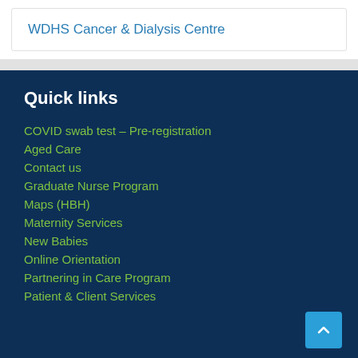WDHS Cancer & Dialysis Centre
Quick links
COVID swab test – Pre-registration
Aged Care
Contact us
Graduate Nurse Program
Maps (HBH)
Maternity Services
New Babies
Online Orientation
Partnering in Care Program
Patient & Client Services